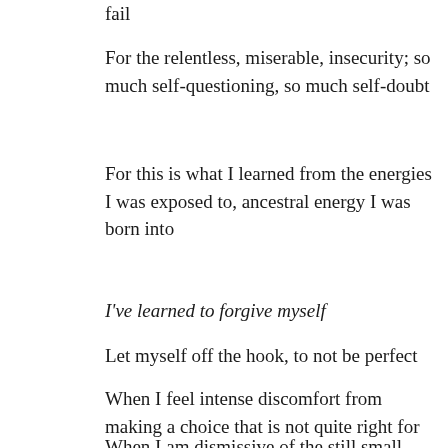fail
For the relentless, miserable, insecurity; so much self-questioning, so much self-doubt
For this is what I learned from the energies I was exposed to, ancestral energy I was born into
I've learned to forgive myself
Let myself off the hook, to not be perfect
When I feel intense discomfort from making a choice that is not quite right for me
When I am dismissive of the still small voice of